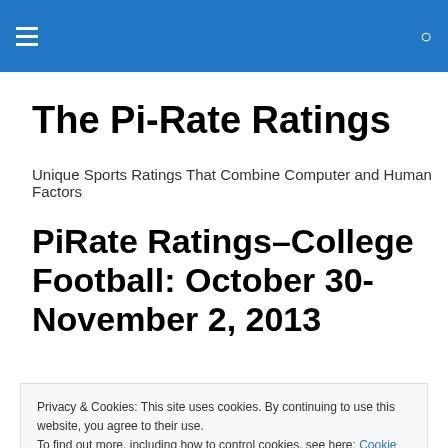The Pi-Rate Ratings [navigation header bar]
The Pi-Rate Ratings
Unique Sports Ratings That Combine Computer and Human Factors
PiRate Ratings–College Football: October 30-November 2, 2013
Privacy & Cookies: This site uses cookies. By continuing to use this website, you agree to their use.
To find out more, including how to control cookies, see here: Cookie Policy
Close and accept